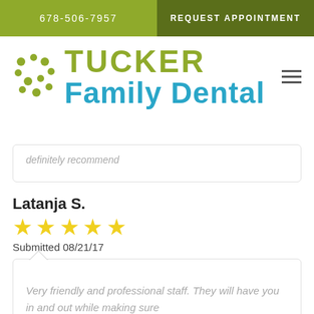678-506-7957 | REQUEST APPOINTMENT
[Figure (logo): Tucker Family Dental logo with green dot pattern and teal text]
definitely recommend
Latanja S.
★★★★★
Submitted 08/21/17
Very friendly and professional staff. They will have you in and out while making sure